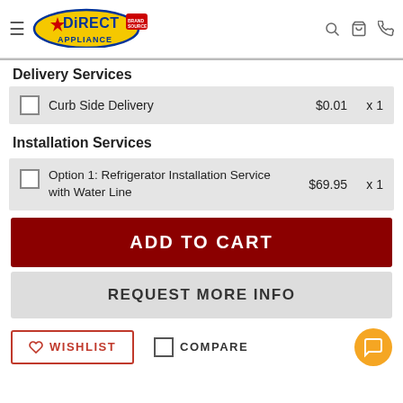[Figure (logo): Direct Appliance logo with Brand Source badge]
Delivery Services
Curb Side Delivery  $0.01  x 1
Installation Services
Option 1: Refrigerator Installation Service with Water Line  $69.95  x 1
ADD TO CART
REQUEST MORE INFO
WISHLIST
COMPARE